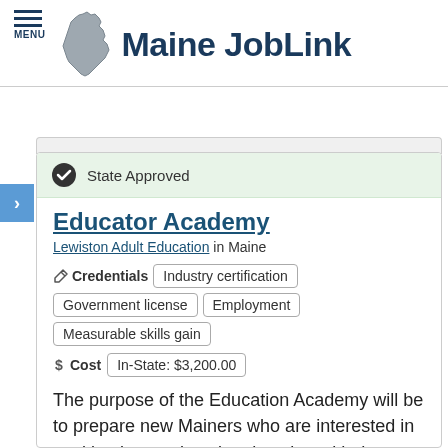Maine JobLink
State Approved
Educator Academy
Lewiston Adult Education in Maine
Credentials  Industry certification  Government license  Employment  Measurable skills gain
Cost  In-State: $3,200.00
The purpose of the Education Academy will be to prepare new Mainers who are interested in working in an educational setting with the competencies needed to be successful. The